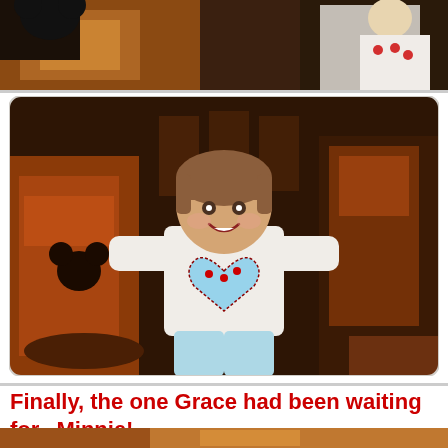[Figure (photo): Partial photo at top of page showing a Disney restaurant scene with a child in a Minnie Mouse shirt on the right side and what appears to be a Disney character costume on the left, in a warm orange/brown restaurant interior]
[Figure (photo): Main photo of a young girl smiling in a Disney restaurant, wearing a white long-sleeve shirt with a blue Minnie Mouse heart graphic and light blue Minnie Mouse pants, with orange/brown restaurant chairs and a Mickey Mouse shaped cutout visible in the background]
Finally, the one Grace had been waiting for...Minnie!
[Figure (photo): Bottom strip of another photo, partially visible, showing a warm-toned Disney restaurant scene]